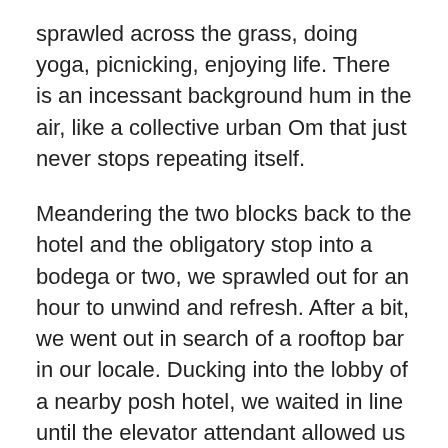sprawled across the grass, doing yoga, picnicking, enjoying life. There is an incessant background hum in the air, like a collective urban Om that just never stops repeating itself.
Meandering the two blocks back to the hotel and the obligatory stop into a bodega or two, we sprawled out for an hour to unwind and refresh. After a bit, we went out in search of a rooftop bar in our locale. Ducking into the lobby of a nearby posh hotel, we waited in line until the elevator attendant allowed us on for the journey upward to the Refinery Rooftop Bar. Riding the elevator to the top with a group of twenty-somethings, we spilled out into a loud and crowded scene with nary a seat nor standing space to be had. Great views kept us interested for a bit before we went looking for yet another spot. The urge to keep moving floats around you in an aura of unrest in this